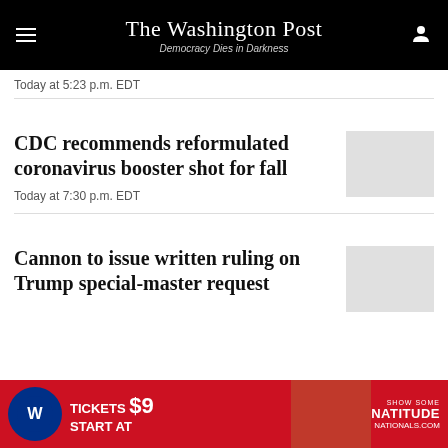The Washington Post — Democracy Dies in Darkness
Today at 5:23 p.m. EDT
CDC recommends reformulated coronavirus booster shot for fall
Today at 7:30 p.m. EDT
Cannon to issue written ruling on Trump special-master request
Today at 8:35 p.m. EDT
[Figure (photo): Washington Nationals advertisement: Tickets start at $9, Show some Natitude, nationals.com]
Advertisement: Washington Nationals — Tickets $9 Start At — Show Some Natitude — NATIONALS.COM